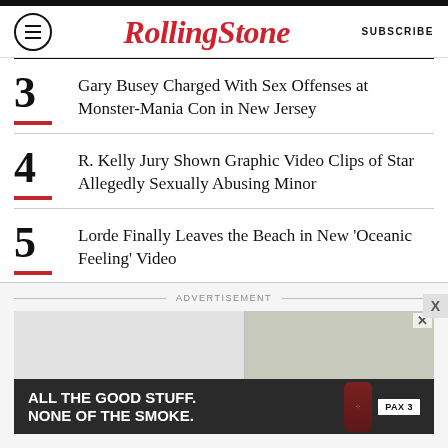RollingStone | SUBSCRIBE
3 Gary Busey Charged With Sex Offenses at Monster-Mania Con in New Jersey
4 R. Kelly Jury Shown Graphic Video Clips of Star Allegedly Sexually Abusing Minor
5 Lorde Finally Leaves the Beach in New 'Oceanic Feeling' Video
ADVERTISEMENT
[Figure (photo): Advertisement: bathroom interior photo with text 'ALL THE GOOD STUFF. NONE OF THE SMOKE.' and PAX 3 branding]